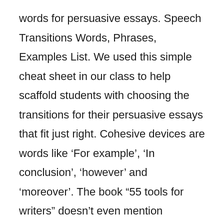words for persuasive essays. Speech Transitions Words, Phrases, Examples List. We used this simple cheat sheet in our class to help scaffold students with choosing the transitions for their persuasive essays that fit just right. Cohesive devices are words like ‘For example’, ‘In conclusion’, ‘however’ and ‘moreover’. The book “55 tools for writers” doesn’t even mention transitional words and phrases–rather urging the elimination of all words not clearly needed. Let’s have a look at different types of speech transitions that help make speeches to keep the audience interested.
x��SMo�@�[�ı���ef�[�“L+W Get guaranteed assistance and 100% confidentiality.